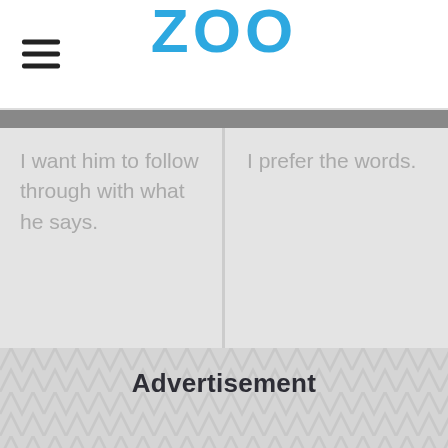ZOO
I want him to follow through with what he says.
I prefer the words.
Advertisement